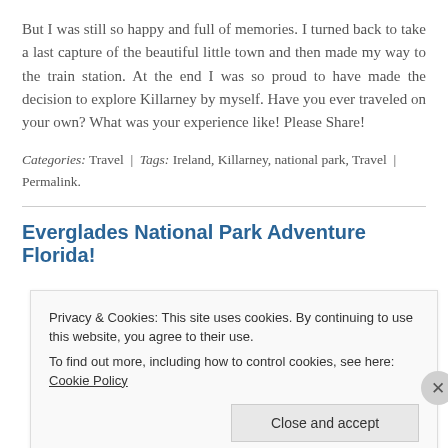But I was still so happy and full of memories. I turned back to take a last capture of the beautiful little town and then made my way to the train station. At the end I was so proud to have made the decision to explore Killarney by myself. Have you ever traveled on your own? What was your experience like! Please Share!
Categories: Travel | Tags: Ireland, Killarney, national park, Travel | Permalink.
Everglades National Park Adventure Florida!
Privacy & Cookies: This site uses cookies. By continuing to use this website, you agree to their use.
To find out more, including how to control cookies, see here: Cookie Policy